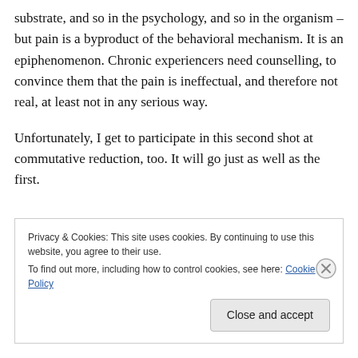substrate, and so in the psychology, and so in the organism – but pain is a byproduct of the behavioral mechanism. It is an epiphenomenon. Chronic experiencers need counselling, to convince them that the pain is ineffectual, and therefore not real, at least not in any serious way.
Unfortunately, I get to participate in this second shot at commutative reduction, too. It will go just as well as the first.
Privacy & Cookies: This site uses cookies. By continuing to use this website, you agree to their use.
To find out more, including how to control cookies, see here: Cookie Policy